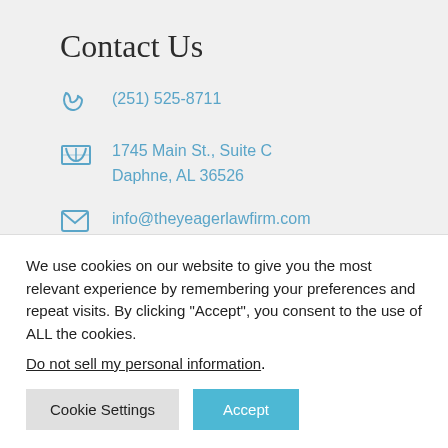Contact Us
(251) 525-8711
1745 Main St., Suite C
Daphne, AL 36526
info@theyeagerlawfirm.com
Quick Links
We use cookies on our website to give you the most relevant experience by remembering your preferences and repeat visits. By clicking "Accept", you consent to the use of ALL the cookies.
Do not sell my personal information.